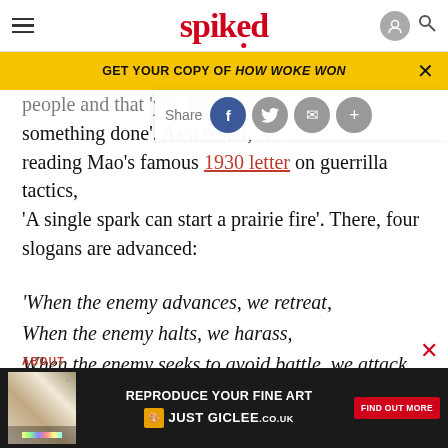spiked
GET YOUR COPY OF HOW WOKE WON
people and that 'you have, well, something done'. As a result, X... reading Mao's famous 1930 letter on guerrilla tactics, 'A single spark can start a prairie fire'. There, four slogans are advanced:
'When the enemy advances, we retreat,
When the enemy halts, we harass,
When the enemy seeks to avoid battle, we attack,
When the enemy retreats, we pursue.'
REPRODUCE YOUR FINE ART JUST GICLEE...